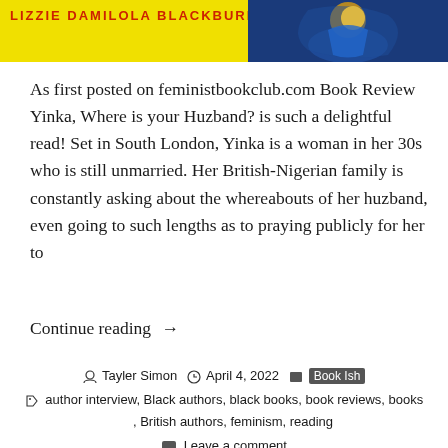[Figure (illustration): Book cover banner with yellow background, red text partially visible at top reading author name, and a decorative blue and gold illustrated figure on the right side]
As first posted on feministbookclub.com Book Review Yinka, Where is your Huzband? is such a delightful read! Set in South London, Yinka is a woman in her 30s who is still unmarried. Her British-Nigerian family is constantly asking about the whereabouts of her huzband, even going to such lengths as to praying publicly for her to
Continue reading →
By Tayler Simon  April 4, 2022  Book Ish
author interview, Black authors, black books, book reviews, books , British authors, feminism, reading
Leave a comment